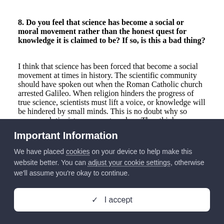8. Do you feel that science has become a social or moral movement rather than the honest quest for knowledge it is claimed to be? If so, is this a bad thing?
I think that science has been forced that become a social movement at times in history. The scientific community should have spoken out when the Roman Catholic church arrested Galileo. When religion hinders the progress of true science, scientists must lift a voice, or knowledge will be hindered by small minds. This is no doubt why so many evolutionists are so out-spoken. They think Intelligent Design hinders the progress of science. However, evolution is not science. There is nothing
Important Information
We have placed cookies on your device to help make this website better. You can adjust your cookie settings, otherwise we'll assume you're okay to continue.
✓ I accept